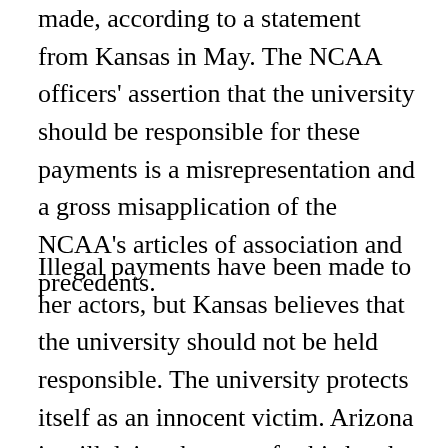made, according to a statement from Kansas in May. The NCAA officers' assertion that the university should be responsible for these payments is a misrepresentation and a gross misapplication of the NCAA's articles of association and precedents.
Illegal payments have been made to her actors, but Kansas believes that the university should not be held responsible. The university protects itself as an innocent victim. Arizona is still doing the same for his head coach Sean Miller, although Miller's assistant at the time, Emanuel Book Richardson, spent three months